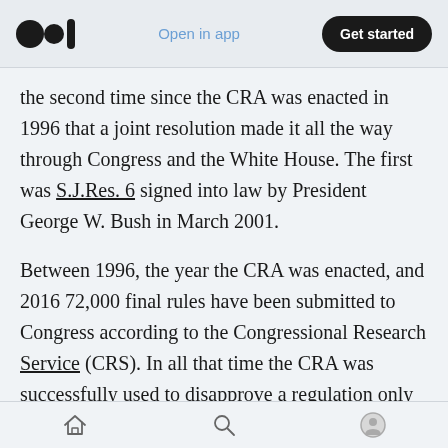Open in app | Get started
the second time since the CRA was enacted in 1996 that a joint resolution made it all the way through Congress and the White House. The first was S.J.Res. 6 signed into law by President George W. Bush in March 2001.
Between 1996, the year the CRA was enacted, and 2016 72,000 final rules have been submitted to Congress according to the Congressional Research Service (CRS). In all that time the CRA was successfully used to disapprove a regulation only once. When Trumplicans took over in 2017 35 CRA resolutions were introduced into the